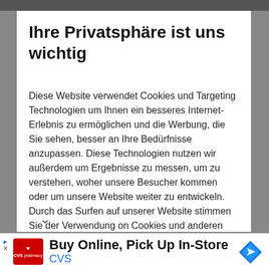[Figure (photo): Dark image strip at the top of the page]
Ihre Privatsphäre ist uns wichtig
Diese Website verwendet Cookies und Targeting Technologien um Ihnen ein besseres Internet-Erlebnis zu ermöglichen und die Werbung, die Sie sehen, besser an Ihre Bedürfnisse anzupassen. Diese Technologien nutzen wir außerdem um Ergebnisse zu messen, um zu verstehen, woher unsere Besucher kommen oder um unsere Website weiter zu entwickeln. Durch das Surfen auf unserer Website stimmen Sie der Verwendung on Cookies und anderen Tracking-Technologien
[Figure (infographic): CVS Pharmacy advertisement: Buy Online, Pick Up In-Store. CVS logo on red background, navigation arrow icon on right.]